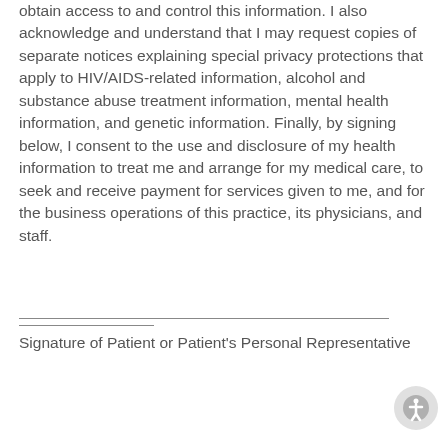obtain access to and control this information. I also acknowledge and understand that I may request copies of separate notices explaining special privacy protections that apply to HIV/AIDS-related information, alcohol and substance abuse treatment information, mental health information, and genetic information. Finally, by signing below, I consent to the use and disclosure of my health information to treat me and arrange for my medical care, to seek and receive payment for services given to me, and for the business operations of this practice, its physicians, and staff.
Signature of Patient or Patient's Personal Representative